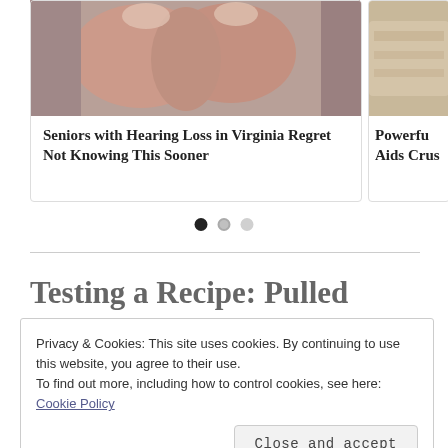[Figure (photo): Close-up photo of fingers/skin with dry or irritated skin texture, pinkish-red tone]
Seniors with Hearing Loss in Virginia Regret Not Knowing This Sooner
[Figure (photo): Partial photo of bread or baked good with tan/beige color]
Powerful Hearing Aids Crus...
Testing a Recipe: Pulled
Privacy & Cookies: This site uses cookies. By continuing to use this website, you agree to their use.
To find out more, including how to control cookies, see here: Cookie Policy
Close and accept